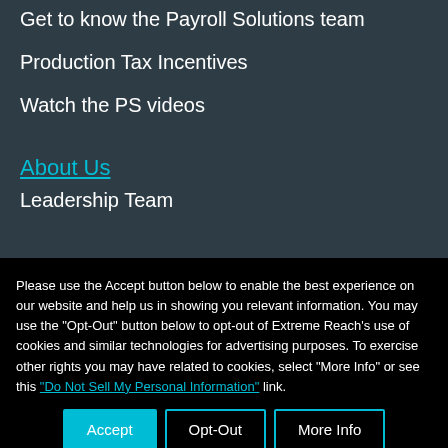Get to know the Payroll Solutions team
Production Tax Incentives
Watch the PS videos
About Us
Leadership Team
Please use the Accept button below to enable the best experience on our website and help us in showing you relevant information. You may use the "Opt-Out" button below to opt-out of Extreme Reach's use of cookies and similar technologies for advertising purposes. To exercise other rights you may have related to cookies, select "More Info" or see this "Do Not Sell My Personal Information" link.
Accept | Opt-Out | More Info